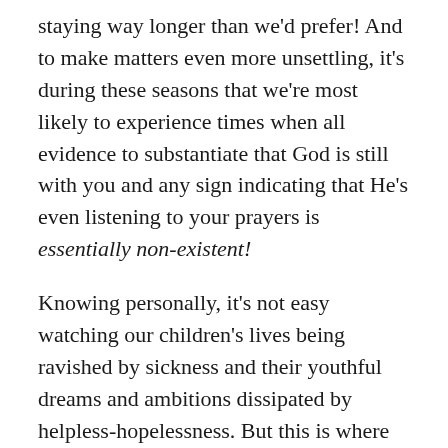staying way longer than we'd prefer! And to make matters even more unsettling, it's during these seasons that we're most likely to experience times when all evidence to substantiate that God is still with you and any sign indicating that He's even listening to your prayers is essentially non-existent!

Knowing personally, it's not easy watching our children's lives being ravished by sickness and their youthful dreams and ambitions dissipated by helpless-hopelessness. But this is where the clichés that we so impressively sprout off to others are proven real or Memorex! Beloved, the longer we walk with Jesus we discover that it's in the midst of the storms that God reveals His Best Handy Work! Who would've